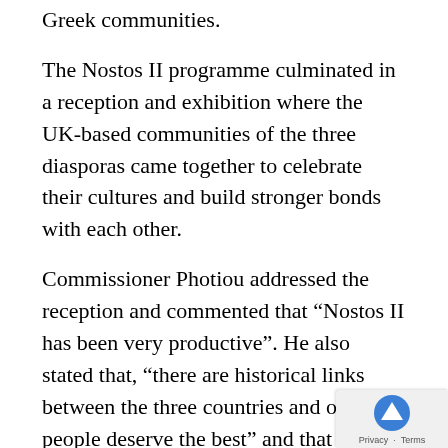Greek communities.
The Nostos II programme culminated in a reception and exhibition where the UK-based communities of the three diasporas came together to celebrate their cultures and build stronger bonds with each other.
Commissioner Photiou addressed the reception and commented that “Nostos II has been very productive”. He also stated that, “there are historical links between the three countries and our people deserve the best” and that Nostos II can be a platform for the three Diasporas to build strong and bene… relationships upon. Mr Photiou conclude… paying tribute to the National Federation of